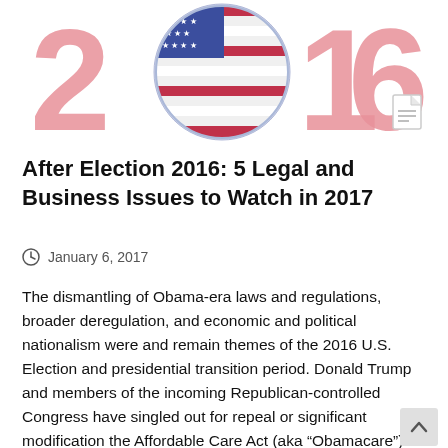[Figure (illustration): Decorative header graphic showing '2016' in large pink letters with an American flag circle as the '0', on a white background with a small document icon in the corner]
After Election 2016: 5 Legal and Business Issues to Watch in 2017
January 6, 2017
The dismantling of Obama-era laws and regulations, broader deregulation, and economic and political nationalism were and remain themes of the 2016 U.S. Election and presidential transition period. Donald Trump and members of the incoming Republican-controlled Congress have singled out for repeal or significant modification the Affordable Care Act (aka “Obamacare”) and the Dodd-Frank Wall Street Reform and Consumer Protection Act, along with trade, immigration, foreign affairs, and environmental laws, regulations, and policies. If taken, these actions will not only effect legal changes in